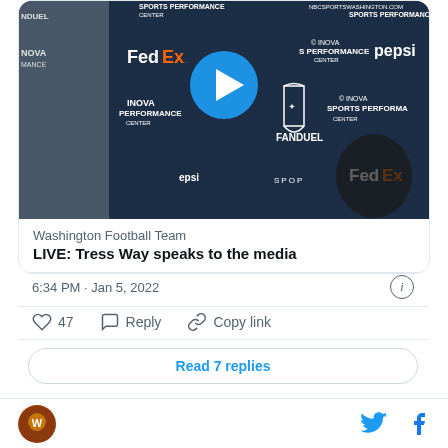[Figure (screenshot): Embedded tweet card showing a video thumbnail from Washington Football Team press conference with Tress Way. Dark blue background with sponsor logos (FedEx, Pepsi, Inova, FanDuel). Blue circular play button in center.]
Washington Football Team
LIVE: Tress Way speaks to the media
6:34 PM · Jan 5, 2022
47   Reply   Copy link
Read 7 replies
[Figure (logo): Washington Football Team circular logo (helmet mascot) in orange/brown colors]
[Figure (logo): Twitter bird icon in blue and Facebook f icon in blue in page footer]